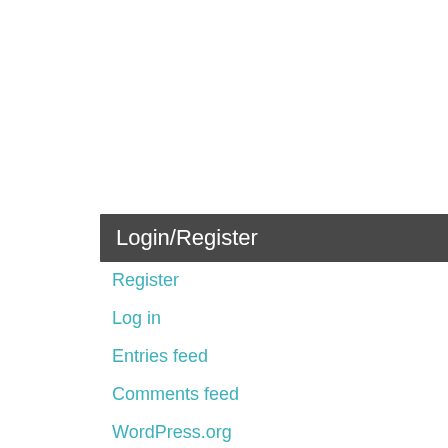2. March 2022
English Belo... gelöscht. Als wenig...
Continue re
Login/Register
Register
Log in
Entries feed
Comments feed
WordPress.org
Download
18. July 2021
Gäste: Könne... erforderlich Mira-Kathari...
Continue re
Please Sup
2. February 202...
The forum a... https://testb... would like to...
Continue re
[Figure (logo): Scroll to top arrow icon - circular blue/teal button with upward chevron]
[Figure (logo): Thomann Partner badge - black background with Thomann logo and PARTNER text]
Privacy & Cookies Policy